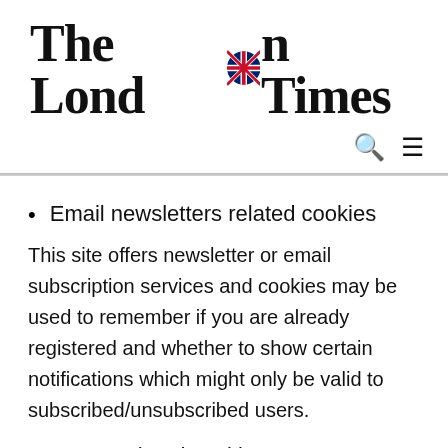The London Times
Email newsletters related cookies
This site offers newsletter or email subscription services and cookies may be used to remember if you are already registered and whether to show certain notifications which might only be valid to subscribed/unsubscribed users.
Forms related cookies
When you submit data to through a form such as those